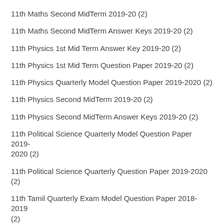11th Maths Second MidTerm 2019-20 (2)
11th Maths Second MidTerm Answer Keys 2019-20 (2)
11th Physics 1st Mid Term Answer Key 2019-20 (2)
11th Physics 1st Mid Term Question Paper 2019-20 (2)
11th Physics Quarterly Model Question Paper 2019-2020 (2)
11th Physics Second MidTerm 2019-20 (2)
11th Physics Second MidTerm Answer Keys 2019-20 (2)
11th Political Science Quarterly Model Question Paper 2019-2020 (2)
11th Political Science Quarterly Question Paper 2019-2020 (2)
11th Tamil Quarterly Exam Model Question Paper 2018-2019 (2)
12th Accountancy 1st Mid Term Answer Keys 2019-20 (2)
12th Accountancy 1st Mid Term Model Question Paper 2019-20 (2)